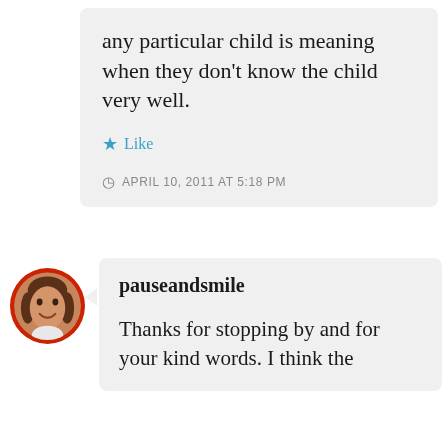any particular child is meaning when they don't know the child very well.
★ Like
APRIL 10, 2011 AT 5:18 PM
[Figure (photo): Round avatar photo of a woman with brown hair, framed by a red circular border]
pauseandsmile
Thanks for stopping by and for your kind words. I think the